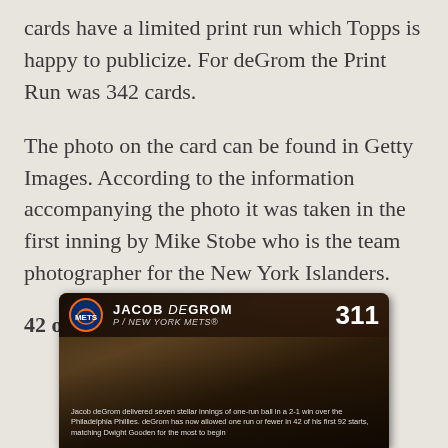cards have a limited print run which Topps is happy to publicize. For deGrom the Print Run was 342 cards.
The photo on the card can be found in Getty Images. According to the information accompanying the photo it was taken in the first inning by Mike Stobe who is the team photographer for the New York Islanders.
42 over 92
[Figure (photo): Jacob deGrom Topps baseball card #311, New York Mets. Card back showing player name, team, card number 311, and text about deGrom delivering seven stellar innings of one-run ball in a 2-1 win over the Philadelphia Phillies. deGrom has now allowed one run or fewer in 42 of his first 92 starts, matching Dwight Gooden for the most to begin a career.]